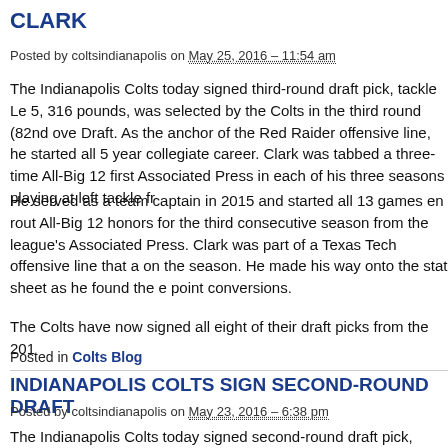CLARK
Posted by coltsindianapolis on May 25, 2016 – 11:54 am
The Indianapolis Colts today signed third-round draft pick, tackle Le 5, 316 pounds, was selected by the Colts in the third round (82nd ove Draft. As the anchor of the Red Raider offensive line, he started all 5 year collegiate career. Clark was tabbed a three-time All-Big 12 first Associated Press in each of his three seasons playing at left tackle fr
He served as a team captain in 2015 and started all 13 games en rout All-Big 12 honors for the third consecutive season from the league's Associated Press. Clark was part of a Texas Tech offensive line that a on the season. He made his way onto the stat sheet as he found the e point conversions.
The Colts have now signed all eight of their draft picks from the 201
Posted in Colts Blog
INDIANAPOLIS COLTS SIGN SECOND-ROUND DRAFT
Posted by coltsindianapolis on May 23, 2016 – 6:38 pm
The Indianapolis Colts today signed second-round draft pick, safety 205 pounds, was selected by the Colts in the second round (57th ove Draft. He saw action in 26 games (16 starts) in three seasons at Cle